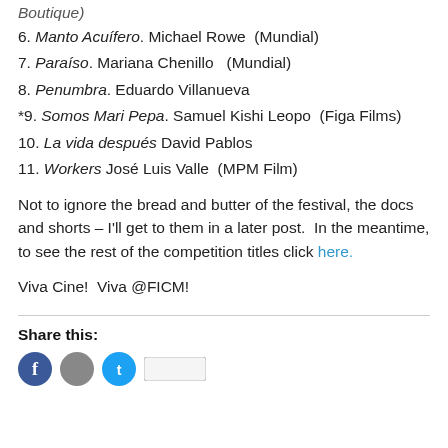Boutique)
6. Manto Acuífero. Michael Rowe  (Mundial)
7. Paraíso. Mariana Chenillo   (Mundial)
8. Penumbra. Eduardo Villanueva
*9. Somos Mari Pepa. Samuel Kishi Leopo  (Figa Films)
10. La vida después David Pablos
11. Workers José Luis Valle  (MPM Film)
Not to ignore the bread and butter of the festival, the docs and shorts – I'll get to them in a later post.  In the meantime, to see the rest of the competition titles click here.
Viva Cine!  Viva @FICM!
Share this:
[Figure (other): Social share icons: Facebook (blue circle), grey circle, Twitter (blue circle), and a button]